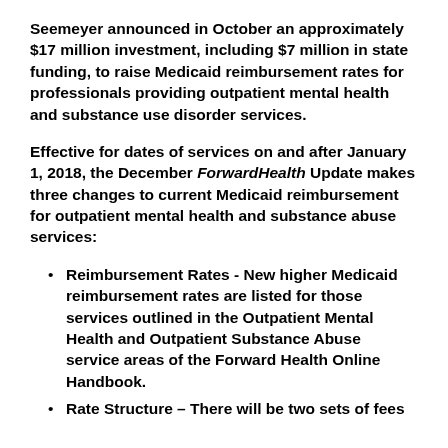Seemeyer announced in October an approximately $17 million investment, including $7 million in state funding, to raise Medicaid reimbursement rates for professionals providing outpatient mental health and substance use disorder services.
Effective for dates of services on and after January 1, 2018, the December ForwardHealth Update makes three changes to current Medicaid reimbursement for outpatient mental health and substance abuse services:
Reimbursement Rates - New higher Medicaid reimbursement rates are listed for those services outlined in the Outpatient Mental Health and Outpatient Substance Abuse service areas of the Forward Health Online Handbook.
Rate Structure – There will be two sets of fees